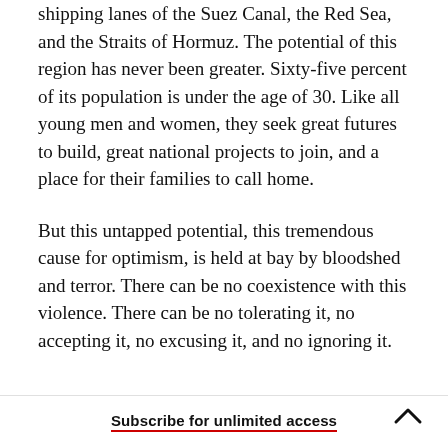shipping lanes of the Suez Canal, the Red Sea, and the Straits of Hormuz. The potential of this region has never been greater. Sixty-five percent of its population is under the age of 30. Like all young men and women, they seek great futures to build, great national projects to join, and a place for their families to call home.
But this untapped potential, this tremendous cause for optimism, is held at bay by bloodshed and terror. There can be no coexistence with this violence. There can be no tolerating it, no accepting it, no excusing it, and no ignoring it.
Subscribe for unlimited access